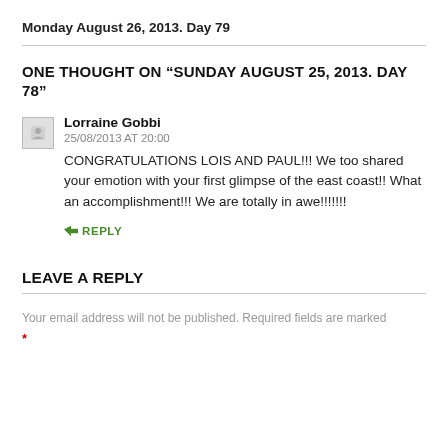Monday August 26, 2013. Day 79
ONE THOUGHT ON “SUNDAY AUGUST 25, 2013. DAY 78”
Lorraine Gobbi
25/08/2013 AT 20:00
CONGRATULATIONS LOIS AND PAUL!!! We too shared your emotion with your first glimpse of the east coast!! What an accomplishment!!! We are totally in awe!!!!!!!
➜ REPLY
LEAVE A REPLY
Your email address will not be published. Required fields are marked *